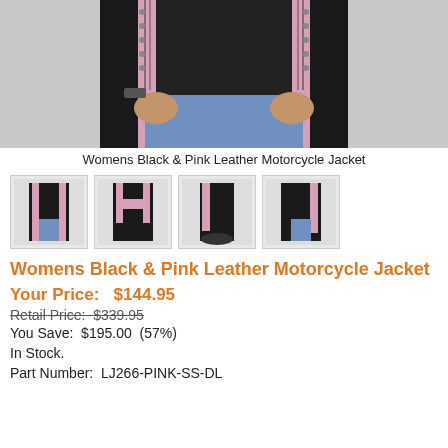[Figure (photo): Main product photo showing torso of person wearing womens black and pink leather motorcycle jacket, front view close-up]
Womens Black & Pink Leather Motorcycle Jacket
[Figure (photo): Four thumbnail views of the black and pink leather motorcycle jacket: front, back, side, and another angle]
Womens Black & Pink Leather Motorcycle Jacket
Your Price:   $144.95
Retail Price:   $339.95
You Save:  $195.00  (57%)
In Stock.
Part Number:  LJ266-PINK-SS-DL